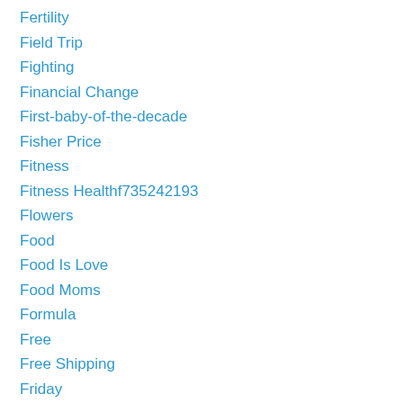Fertility
Field Trip
Fighting
Financial Change
First-baby-of-the-decade
Fisher Price
Fitness
Fitness Healthf735242193
Flowers
Food
Food Is Love
Food Moms
Formula
Free
Free Shipping
Friday
Friend
Friends
Friendship
Fruit
Fun